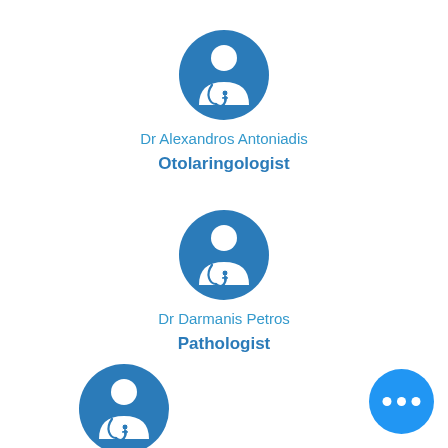[Figure (illustration): Doctor avatar icon in a blue circle for Dr Alexandros Antoniadis]
Dr Alexandros Antoniadis
Otolaringologist
[Figure (illustration): Doctor avatar icon in a blue circle for Dr Darmanis Petros]
Dr Darmanis Petros
Pathologist
[Figure (illustration): Doctor avatar icon in a blue circle (third doctor, partially visible)]
[Figure (illustration): Blue circular button with three dots (more options button)]